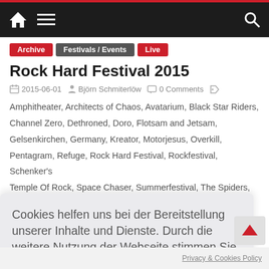Navigation bar with home, menu, and search icons
Archive
Festivals / Events
Live
Rock Hard Festival 2015
2015-06-01  Björn Schmiterlöw  0 Comments
Amphitheater, Architects of Chaos, Avatarium, Black Star Riders, Channel Zero, Dethroned, Doro, Flotsam and Jetsam, Gelsenkirchen, Germany, Kreator, Motorjesus, Overkill, Pentagram, Refuge, Rock Hard Festival, Rockfestival, Schenker's Temple Of Rock, Space Chaser, Summerfestival, The Spiders,
Cookies helfen uns bei der Bereitstellung unserer Inhalte und Dienste. Durch die weitere Nutzung der Webseite stimmen Sie der Verwendung von Cookies zu.
Okay!
Privacy & Cookies Policy